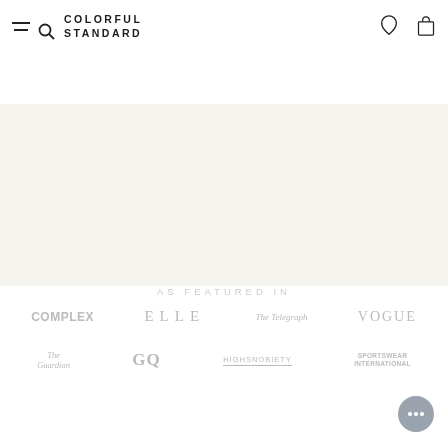COLORFUL STANDARD
[Figure (photo): Product image area showing a yellow oversized t-shirt, partially visible at top]
Oversized Organic LS T-shirt - Soft Yellow
49,00 CHF
Size selector: XS S M L XL 2XL
AS FEATURED IN
[Figure (logo): COMPLEX logo]
[Figure (logo): ELLE logo]
[Figure (logo): The Telegraph logo]
[Figure (logo): VOGUE logo]
[Figure (logo): The Guardian logo]
[Figure (logo): GQ logo]
[Figure (logo): HIGHSNOBIETY logo]
[Figure (logo): SPORTSWEAR INTERNATIONAL logo]